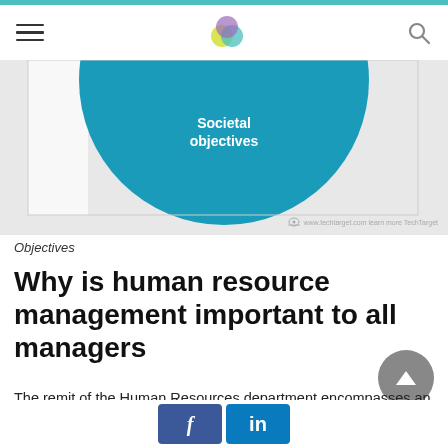Navigation header with hamburger menu, logo, and search icon
[Figure (illustration): Partial view of a diagram showing overlapping colored circles (Venn-style) on a light gray background. A large teal/blue circle is visible with white text reading 'Societal objectives' in the center. The bottom right has a TechTarget watermark.]
Objectives
Why is human resource management important to all managers
The remit of the Human Resources department encompasses an entire organization and plays an